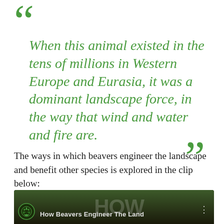“ When this animal existed in the tens of millions in Western Europe and Eurasia, it was a dominant landscape force, in the way that wind and water and fire are. ”
The ways in which beavers engineer the landscape and benefit other species is explored in the clip below:
[Figure (screenshot): Video thumbnail showing 'How Beavers Engineer The Land' with a logo on the left, text overlay on a dark nature background, and three-dot menu icon on the right.]